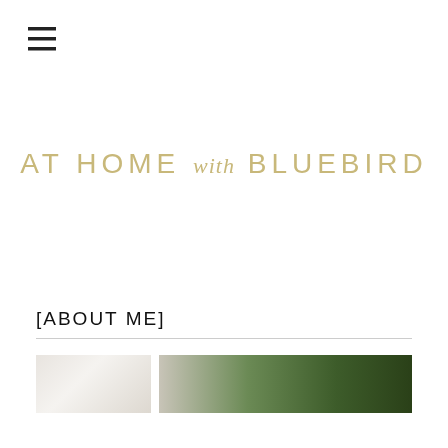[Figure (logo): Hamburger menu icon (three horizontal lines)]
AT HOME with BLUEBIRD
[ABOUT ME]
[Figure (photo): Partial interior/home photo showing light neutral tones on the left and green foliage on the right]